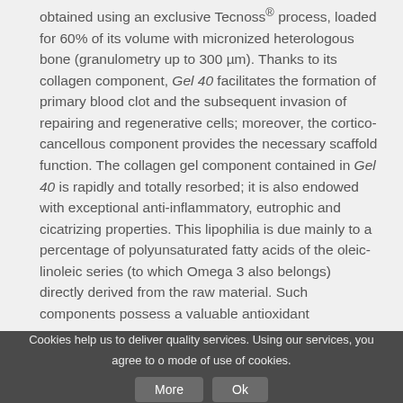obtained using an exclusive Tecnoss® process, loaded for 60% of its volume with micronized heterologous bone (granulometry up to 300 µm). Thanks to its collagen component, Gel 40 facilitates the formation of primary blood clot and the subsequent invasion of repairing and regenerative cells; moreover, the cortico-cancellous component provides the necessary scaffold function. The collagen gel component contained in Gel 40 is rapidly and totally resorbed; it is also endowed with exceptional anti-inflammatory, eutrophic and cicatrizing properties. This lipophilia is due mainly to a percentage of polyunsaturated fatty acids of the oleic-linoleic series (to which Omega 3 also belongs) directly derived from the raw material. Such components possess a valuable antioxidant
Cookies help us to deliver quality services. Using our services, you agree to our mode of use of cookies.